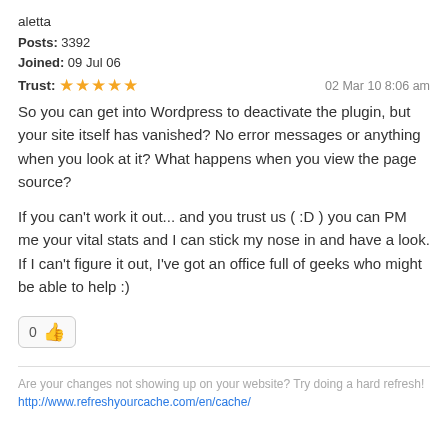aletta
Posts: 3392
Joined: 09 Jul 06
Trust: ★★★★★   02 Mar 10 8:06 am
So you can get into Wordpress to deactivate the plugin, but your site itself has vanished? No error messages or anything when you look at it? What happens when you view the page source?
If you can't work it out... and you trust us ( :D ) you can PM me your vital stats and I can stick my nose in and have a look. If I can't figure it out, I've got an office full of geeks who might be able to help :)
0 👍
Are your changes not showing up on your website? Try doing a hard refresh!
http://www.refreshyourcache.com/en/cache/